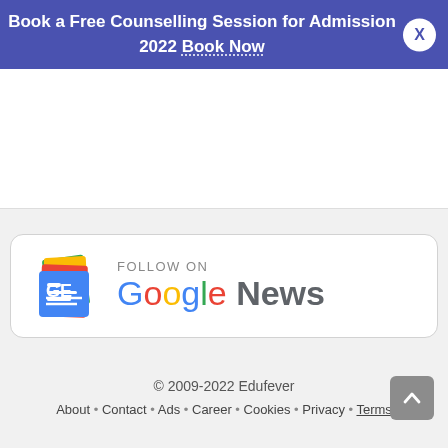Book a Free Counselling Session for Admission 2022 Book Now
[Figure (other): Advertisement placeholder white box]
[Figure (logo): Follow on Google News button with Google News icon and colored logo text]
© 2009-2022 Edufever About • Contact • Ads • Career • Cookies • Privacy • Terms